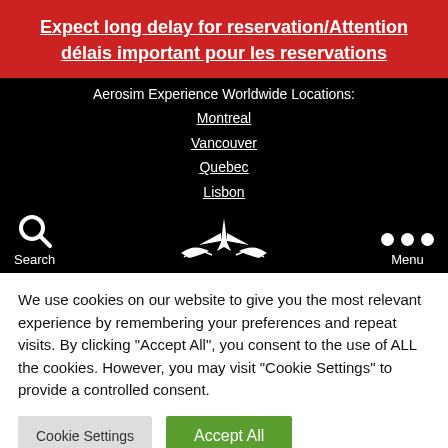Expect long delay for reservation/Attention délais important pour les reservations
Aerosim Experience Worldwide Locations:
Montreal
Vancouver
Quebec
Lisbon
[Figure (logo): Aerosim logo with airplane and wings, search icon and menu dots]
We use cookies on our website to give you the most relevant experience by remembering your preferences and repeat visits. By clicking "Accept All", you consent to the use of ALL the cookies. However, you may visit "Cookie Settings" to provide a controlled consent.
Cookie Settings | Accept All